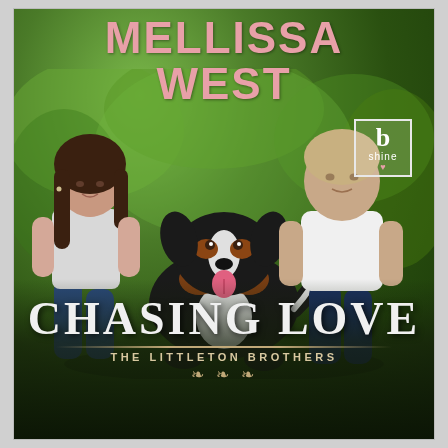[Figure (photo): Book cover for 'Chasing Love' by Mellissa West. A young woman with dark hair and a man with short light hair crouch together outdoors petting a large Bernese Mountain Dog with tongue out, set against a blurred green tree background. A 'shine' publisher logo appears in the upper right.]
MELLISSA WEST
CHASING LOVE
THE LITTLETON BROTHERS